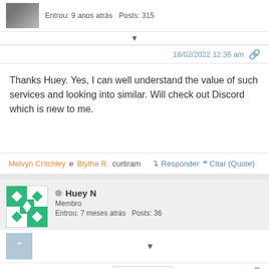Entrou: 9 anos atrás  Posts: 315
18/02/2022 12:36 am
Thanks Huey. Yes, I can well understand the value of such services and looking into similar. Will check out Discord which is new to me.
Melvyn Critchley e Blythe R. curtiram  Responder  Citar (Quote)
Huey N
Membro
Entrou: 7 meses atrás  Posts: 36
Topic starter  18/02/2022 2:40 am